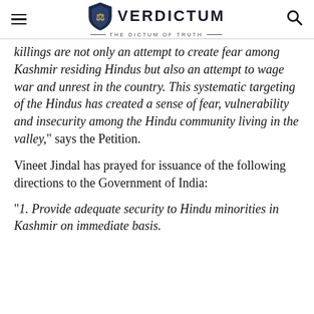VERDICTUM — THE DICTUM OF TRUTH
killings are not only an attempt to create fear among Kashmir residing Hindus but also an attempt to wage war and unrest in the country. This systematic targeting of the Hindus has created a sense of fear, vulnerability and insecurity among the Hindu community living in the valley," says the Petition.
Vineet Jindal has prayed for issuance of the following directions to the Government of India:
"1. Provide adequate security to Hindu minorities in Kashmir on immediate basis.